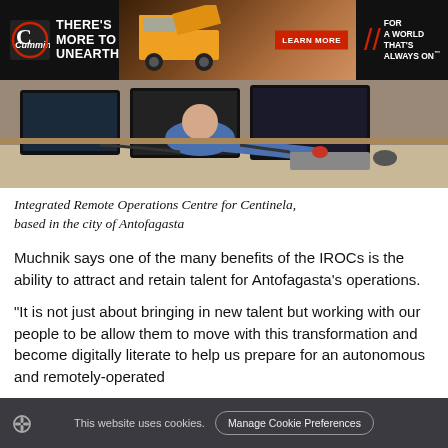[Figure (photo): Cummins advertisement banner: black background with Cummins logo, text 'THERE'S MORE TO UNEARTH', a mining dump truck photo, red 'LEARN MORE' button, double slash and text 'FOR A WORLD THAT'S ALWAYS ON']
[Figure (photo): Photo of a person working at a computer workstation with multiple monitors, viewed from behind/side, at an Integrated Remote Operations Centre]
Integrated Remote Operations Centre for Centinela, based in the city of Antofagasta
Muchnik says one of the many benefits of the IROCs is the ability to attract and retain talent for Antofagasta's operations.
“It is not just about bringing in new talent but working with our people to be allow them to move with this transformation and become digitally literate to help us prepare for an autonomous and remotely-operated
This website uses cookies. Manage Cookie Preferences